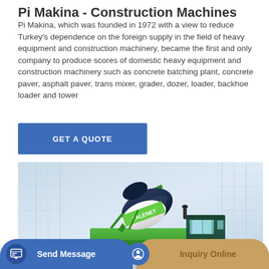Pi Makina - Construction Machines
Pi Makina, which was founded in 1972 with a view to reduce Turkey's dependence on the foreign supply in the field of heavy equipment and construction machinery, became the first and only company to produce scores of domestic heavy equipment and construction machinery such as concrete batching plant, concrete paver, asphalt paver, trans mixer, grader, dozer, loader, backhoe loader and tower
GET A QUOTE
[Figure (photo): Green self-loading concrete mixer truck (branded TALENET) with a large white drum, photographed against a light blue/grey industrial background. The machine has large black tyres and a cab on the right side.]
Send Message
Inquiry Online